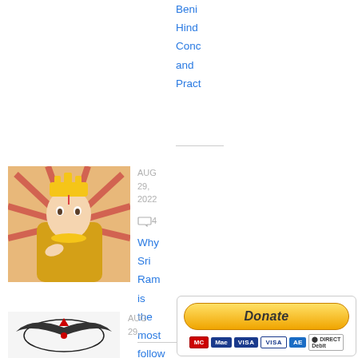Beni Hind Conc and Pract
[Figure (photo): Illustration of Sri Ram deity with golden ornaments and red background]
AUG 29, 2022
4 comments
Why Sri Ram is the most followed person in Hind
[Figure (photo): Logo/icon with wings and crown, red gem]
AUG 29,
[Figure (infographic): PayPal Donate button with credit card logos: MasterCard, Maestro, VISA, VISA, American Express, Direct Debit]